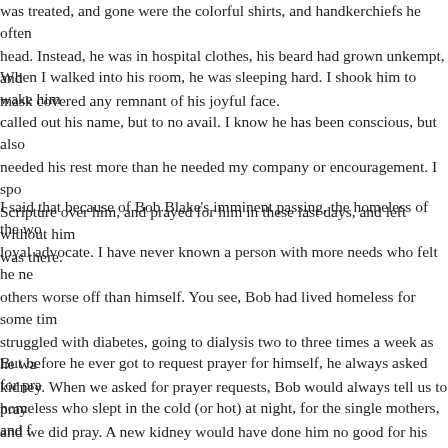was treated, and gone were the colorful shirts, and handkerchiefs he often wore on his head. Instead, he was in hospital clothes, his beard had grown unkempt, and a breathing mask covered any remnant of his joyful face.
When I walked into his room, he was sleeping hard. I shook him to wake him and called out his name, but to no avail. I know he has been conscious, but also that he needed his rest more than he needed my company or encouragement. I spoke Scripture over him, and prayed for him in these last days, and left without him knowing I was there.
I said that because of Bob Blake's imminent passing, the homeless of the world lost a loyal advocate. I have never known a person with more needs who felt he needed to put others worse off than himself. You see, Bob had lived homeless for some time, and he struggled with diabetes, going to dialysis two to three times a week as he waited for a kidney. When we asked for prayer requests, Bob would always tell us to pray for a kidney, and we did pray. A new kidney would have done him no good for his present condition.
But before he ever got to request prayer for himself, he always asked for prayer for the homeless who slept in the cold (or hot) at night, for the single mothers, and for those who were hurting. Making out exactly what he was saying was always a struggle, but we made our way through his requests, but his heart was always clear. He had known what it was to be homeless, to have a single mother and to struggle, and he wanted to give the hope he so desperately desired during his own trials.